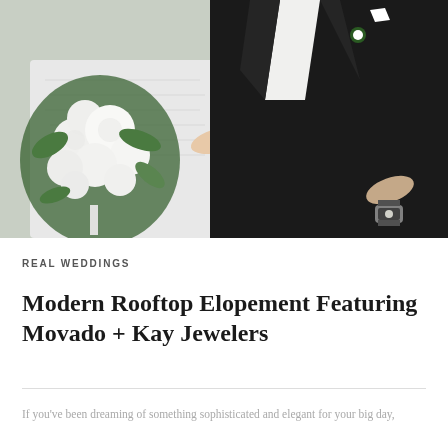[Figure (photo): Wedding photo showing a bride in a white textured dress holding a large white floral bouquet with greenery, standing next to a groom in a black tuxedo. Only their torsos and hands are visible. The groom wears a watch.]
REAL WEDDINGS
Modern Rooftop Elopement Featuring Movado + Kay Jewelers
If you've been dreaming of something sophisticated and elegant for your big day,